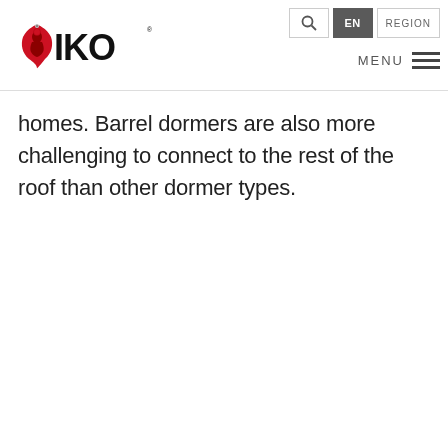IKO logo, Search, EN, REGION, MENU navigation
homes. Barrel dormers are also more challenging to connect to the rest of the roof than other dormer types.